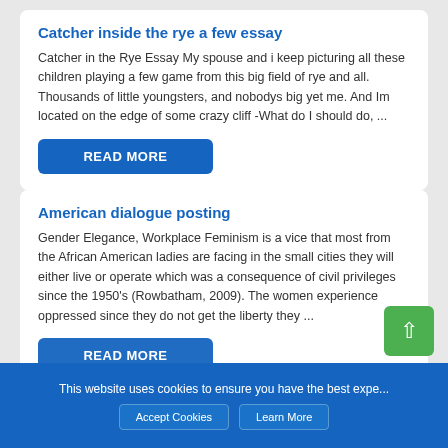Catcher inside the rye a few essay
Catcher in the Rye Essay My spouse and i keep picturing all these children playing a few game from this big field of rye and all. Thousands of little youngsters, and nobodys big yet me. And Im located on the edge of some crazy cliff -What do I should do, ...
READ MORE
American dialogue posting
Gender Elegance, Workplace Feminism is a vice that most from the African American ladies are facing in the small cities they will either live or operate which was a consequence of civil privileges since the 1950's (Rowbatham, 2009). The women experience oppressed since they do not get the liberty they ...
READ MORE
This website uses cookies to ensure you have the best expe...
Accept Cookies
Learn More